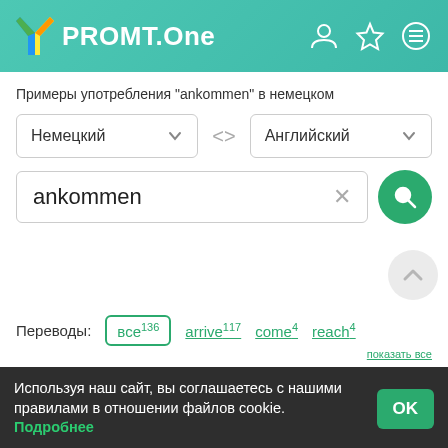[Figure (screenshot): PROMT.One website header with teal gradient background, logo with colorful Y-shaped icon, and three icon buttons (user, star, menu) on the right]
Примеры употребления "ankommen" в немецком
[Figure (screenshot): Language selector dropdowns: Немецкий (left) and Английский (right) with swap arrows between them]
[Figure (screenshot): Search input box with text 'ankommen', clear X button, and green circular search button with magnifying glass icon]
Переводы: все136 arrive117 come4 reach4
Используя наш сайт, вы соглашаетесь с нашими правилами в отношении файлов cookie. Подробнее